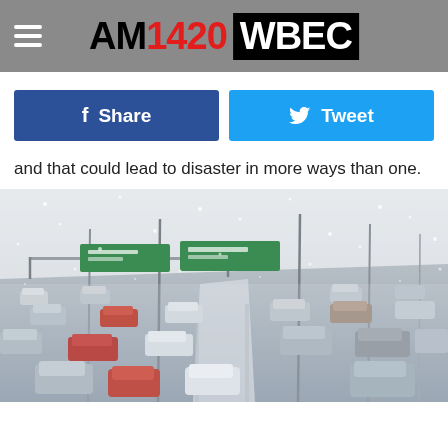AM1420 WBEC
Share | Tweet
and that could lead to disaster in more ways than one.
[Figure (photo): Cars driving on a snow-covered multi-lane highway during a heavy snowstorm, with highway signs and utility poles visible in the background.]